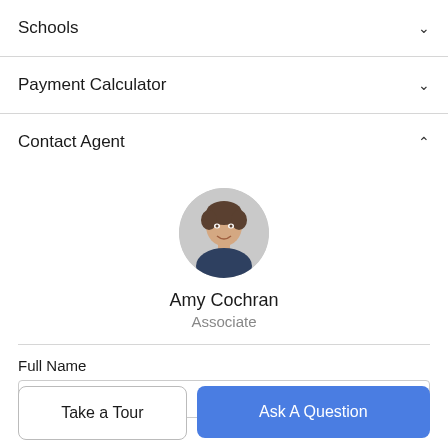Schools
Payment Calculator
Contact Agent
[Figure (photo): Circular profile photo of Amy Cochran, a woman with short dark hair, smiling, wearing a dark jacket]
Amy Cochran
Associate
Full Name
Take a Tour
Ask A Question